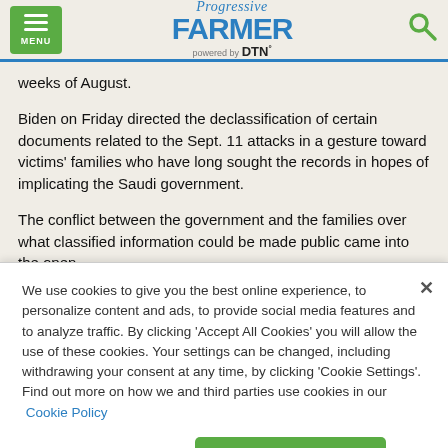Progressive Farmer powered by DTN
weeks of August.
Biden on Friday directed the declassification of certain documents related to the Sept. 11 attacks in a gesture toward victims' families who have long sought the records in hopes of implicating the Saudi government.
The conflict between the government and the families over what classified information could be made public came into the open
We use cookies to give you the best online experience, to personalize content and ads, to provide social media features and to analyze traffic. By clicking 'Accept All Cookies' you will allow the use of these cookies. Your settings can be changed, including withdrawing your consent at any time, by clicking 'Cookie Settings'. Find out more on how we and third parties use cookies in our Cookie Policy
Cookies Settings
Accept All Cookies